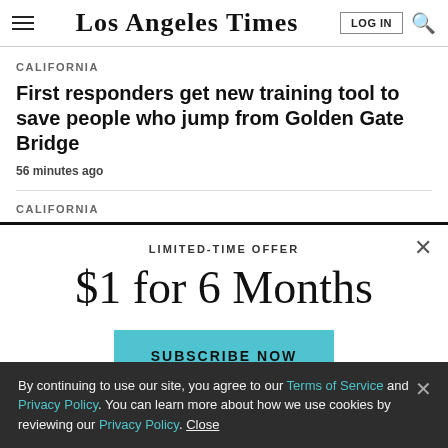Los Angeles Times
CALIFORNIA
First responders get new training tool to save people who jump from Golden Gate Bridge
56 minutes ago
CALIFORNIA
LIMITED-TIME OFFER
$1 for 6 Months
SUBSCRIBE NOW
By continuing to use our site, you agree to our Terms of Service and Privacy Policy. You can learn more about how we use cookies by reviewing our Privacy Policy. Close